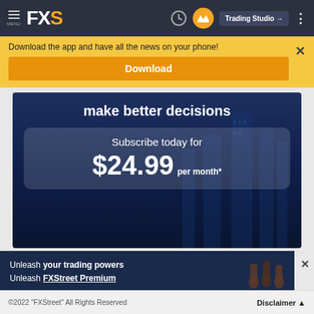MENU FXS | Trading Studio
Download the app and have all the news on your phone!
Download
[Figure (infographic): Dark blue financial advertisement image with bold white text 'make better decisions' at top, and a semi-transparent box showing 'Subscribe today for $24.99 per month*']
[Figure (infographic): Dark navy promotional banner: 'Unleash your trading powers / Unleash FXStreet Premium' with raised fist images on the right side]
©2022 "FXStreet" All Rights Reserved    Disclaimer ▲